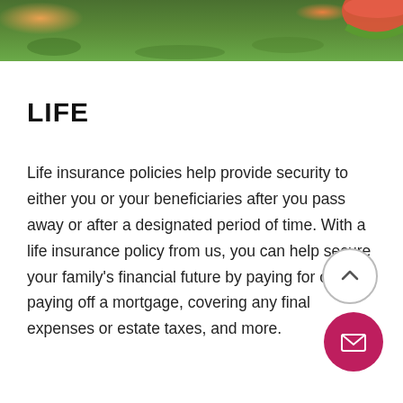[Figure (photo): Partial photo of grass/outdoor scene at top of page, cropped]
LIFE
Life insurance policies help provide security to either you or your beneficiaries after you pass away or after a designated period of time. With a life insurance policy from us, you can help secure your family's financial future by paying for college, paying off a mortgage, covering any final expenses or estate taxes, and more.